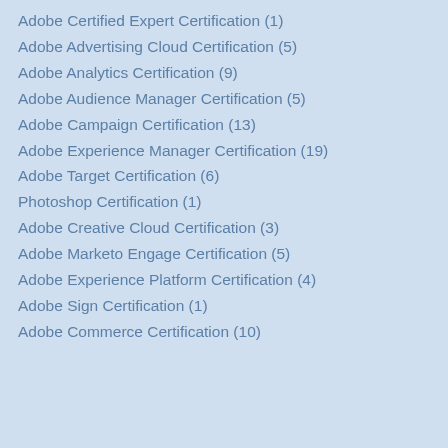Adobe Certified Expert Certification (1)
Adobe Advertising Cloud Certification (5)
Adobe Analytics Certification (9)
Adobe Audience Manager Certification (5)
Adobe Campaign Certification (13)
Adobe Experience Manager Certification (19)
Adobe Target Certification (6)
Photoshop Certification (1)
Adobe Creative Cloud Certification (3)
Adobe Marketo Engage Certification (5)
Adobe Experience Platform Certification (4)
Adobe Sign Certification (1)
Adobe Commerce Certification (10)